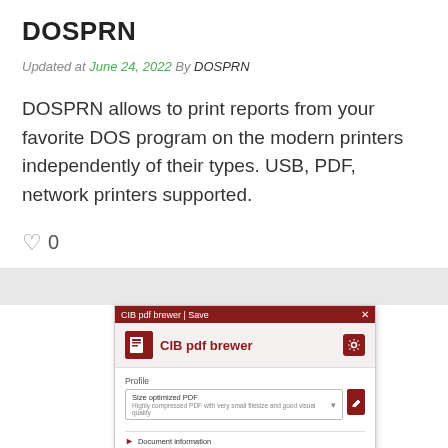DOSPRN
Updated at June 24, 2022 By DOSPRN
DOSPRN allows to print reports from your favorite DOS program on the modern printers independently of their types. USB, PDF, network printers supported.
0
[Figure (screenshot): Screenshot of CIB pdf brewer Save dialog window showing profile selection, document information, attachments, and Save/Save & Share/Cancel buttons]
CIB pdf brewer
Updated at May 16, 2022 By CIB...